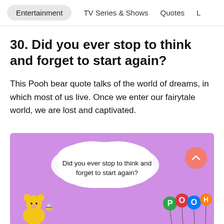Entertainment  TV Series & Shows  Quotes  L
30. Did you ever stop to think and forget to start again?
This Pooh bear quote talks of the world of dreams, in which most of us live. Once we enter our fairytale world, we are lost and captivated.
[Figure (illustration): Purple/lilac background illustration with a white fluffy speech bubble in the center containing the text 'Did you ever stop to think and forget to start again?'. A yellow cartoon Winnie the Pooh character is partially visible at the bottom left with a bee. Colorful balloons spelling POOH are at the bottom right. A coral/salmon circular scroll-to-top button with an upward chevron is at the top right.]